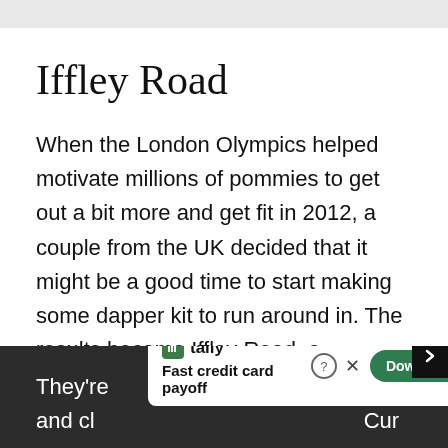Iffley Road
When the London Olympics helped motivate millions of pommies to get out a bit more and get fit in 2012, a couple from the UK decided that it might be a good time to start making some dapper kit to run around in. The results became Iffley Road, a collection of premium running apparel for those who are serious about clocking up kilometres in style - highlighted by these Pembrooke Performance Shorts.
They're … tic and cl… Cur